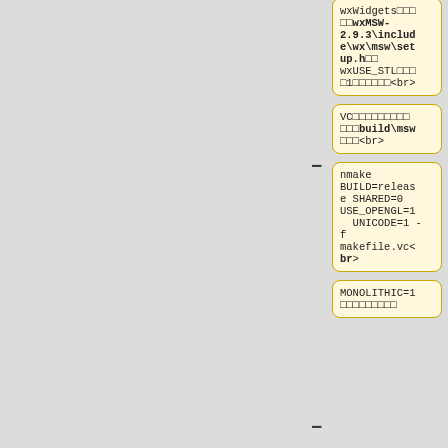[Figure (other): Diff view showing three pairs of code/text cells with minus (removed, yellow background) and plus (added, blue background) sides. Row 1: wxWidgets path with wxMSW-2.9.3\include\wx\msw\setup.h and wxUSE_STL 1 <br> vs same with include/wx/msw/setup.h and wxUSE_STL 1 <br>. Row 2: VC build\msw <br> vs build/msw <br>. Row 3: nmake BUILD=release SHARED=0 USE_OPENGL=1 UNICODE=1 -f makefile.vc<br> vs <pre>nmake BUILD=release SHARED=0 USE_OPENGL=1 UNICODE=1 -f makefile.vc</pre> and /pre>. Row 4 (partial): MONOLITHIC=1 on both sides.]